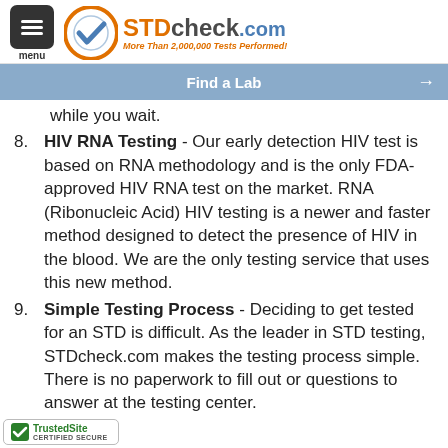STDcheck.com — More Than 2,000,000 Tests Performed!
Find a Lab →
available in 1-2 days. You may call our Care Advisors at 1-800-456-2323 anytime for updates while you wait.
8. HIV RNA Testing - Our early detection HIV test is based on RNA methodology and is the only FDA-approved HIV RNA test on the market. RNA (Ribonucleic Acid) HIV testing is a newer and faster method designed to detect the presence of HIV in the blood. We are the only testing service that uses this new method.
9. Simple Testing Process - Deciding to get tested for an STD is difficult. As the leader in STD testing, STDcheck.com makes the testing process simple. There is no paperwork to fill out or questions to answer at the testing center.
TrustedSite CERTIFIED SECURE